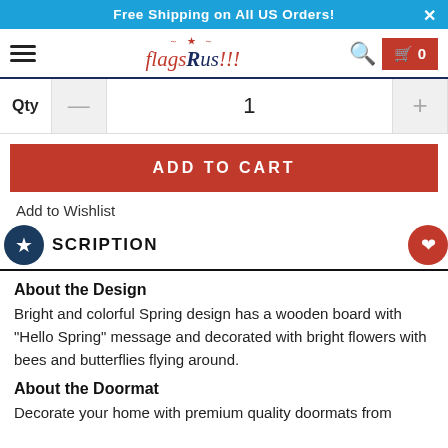Free Shipping on All US Orders!
[Figure (logo): FlagsRus!!! logo with star and patriotic styling, hamburger menu, search icon, and cart button showing 0 items]
Qty  —  1  +
ADD TO CART
Add to Wishlist
DESCRIPTION
About the Design
Bright and colorful Spring design has a wooden board with "Hello Spring" message and decorated with bright flowers with bees and butterflies flying around.
About the Doormat
Decorate your home with premium quality doormats from